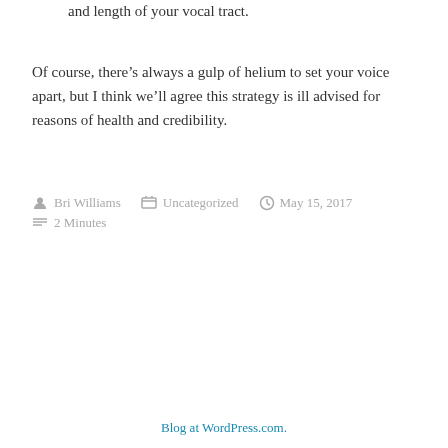and length of your vocal tract.
Of course, there’s always a gulp of helium to set your voice apart, but I think we’ll agree this strategy is ill advised for reasons of health and credibility.
Bri Williams   Uncategorized   May 15, 2017   2 Minutes
Blog at WordPress.com.